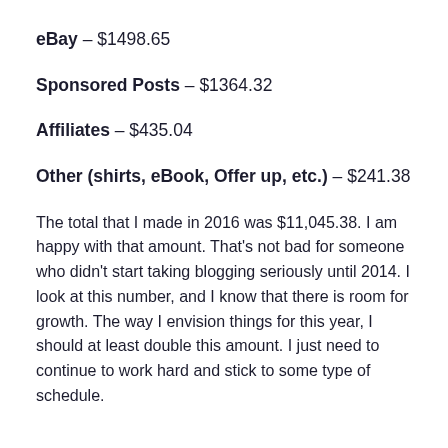eBay – $1498.65
Sponsored Posts – $1364.32
Affiliates – $435.04
Other (shirts, eBook, Offer up, etc.) – $241.38
The total that I made in 2016 was $11,045.38. I am happy with that amount. That's not bad for someone who didn't start taking blogging seriously until 2014. I look at this number, and I know that there is room for growth. The way I envision things for this year, I should at least double this amount. I just need to continue to work hard and stick to some type of schedule.